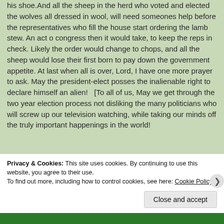his shoe.And all the sheep in the herd who voted and elected the wolves all dressed in wool, will need someones help before the representatives who fill the house start ordering the lamb stew. An act o congress then it would take, to keep the reps in check. Likely the order would change to chops, and all the sheep would lose their first born to pay down the government appetite. At last when all is over, Lord, I have one more prayer to ask. May the president-elect posses the inalienable right to declare himself an alien!   [To all of us, May we get through the two year election process not disliking the many politicians who will screw up our television watching, while taking our minds off the truly important happenings in the world!
Privacy & Cookies: This site uses cookies. By continuing to use this website, you agree to their use.
To find out more, including how to control cookies, see here: Cookie Policy